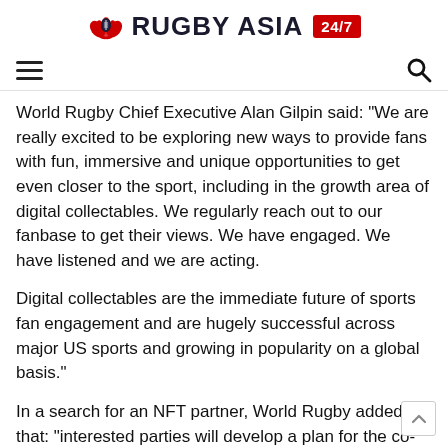RUGBY ASIA 24/7
World Rugby Chief Executive Alan Gilpin said: “We are really excited to be exploring new ways to provide fans with fun, immersive and unique opportunities to get even closer to the sport, including in the growth area of digital collectables. We regularly reach out to our fanbase to get their views. We have engaged. We have listened and we are acting.
Digital collectables are the immediate future of sports fan engagement and are hugely successful across major US sports and growing in popularity on a global basis.”
In a search for an NFT partner, World Rugby added that: “interested parties will develop a plan for the co-development of a non-fungible token (NFT) programme that will enable the sport to reach and attract new audiences through a fun, unique and immersive